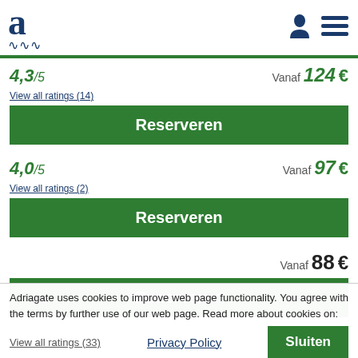Adriagate logo and navigation icons
4,3/5   Vanaf 124 €
View all ratings (14)
Reserveren
4,0/5   Vanaf 97 €
View all ratings (2)
Reserveren
Vanaf 88 €
Reserveren
Adriagate uses cookies to improve web page functionality. You agree with the terms by further use of our web page. Read more about cookies on:
View all ratings (33)
Privacy Policy
Sluiten